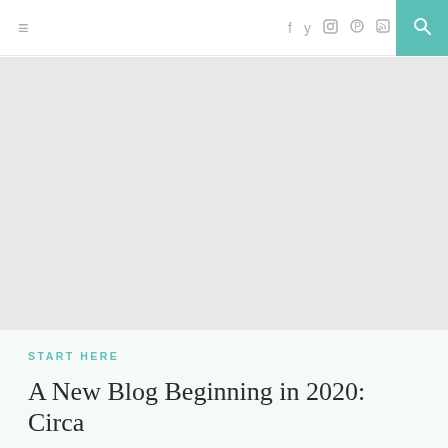≡  f  𝕏  Instagram  Pinterest  RSS  🔍
[Figure (photo): Light gray hero image placeholder area]
START HERE
A New Blog Beginning in 2020: Circa